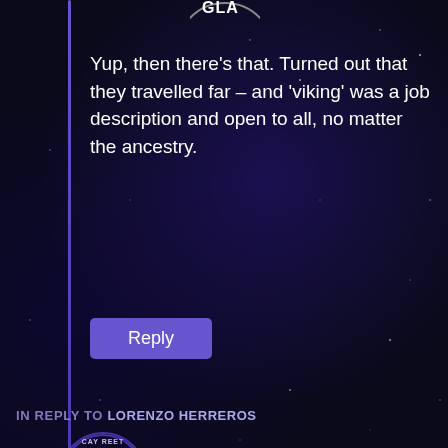[Figure (logo): Partial circular logo/badge at top center, white text on dark background, partially cut off]
Yup, then there's that. Turned out that they travelled far – and 'viking' was a job description and open to all, no matter the ancestry.
Reply
IN REPLY TO LORENZO HERREROS
[Figure (logo): Circular avatar logo for Cay Reet showing a knight figure with text 'CAY REET' on top and 'VIGILANT' on bottom, purple tones on dark background]
Cay Reet
June 22, 2018 at 1:22 pm
Politically, Germany is even more of a mess in the middle ages and far from an 'all-white, all-male'